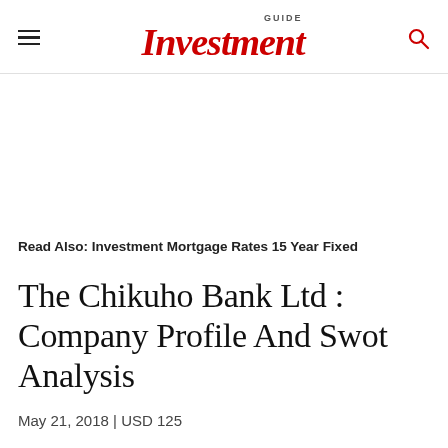Investment GUIDE
Read Also: Investment Mortgage Rates 15 Year Fixed
The Chikuho Bank Ltd : Company Profile And Swot Analysis
May 21, 2018 | USD 125